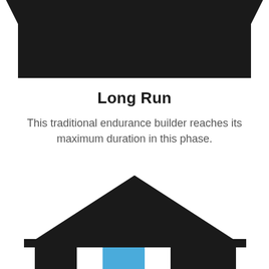[Figure (illustration): Top portion of a building/temple icon showing a black trapezoid roof shape, cropped at top of page]
Long Run
This traditional endurance builder reaches its maximum duration in this phase.
[Figure (illustration): A building/temple icon with a black triangular roof/pediment, four columns below (three black, one blue/highlighted in the second position from left)]